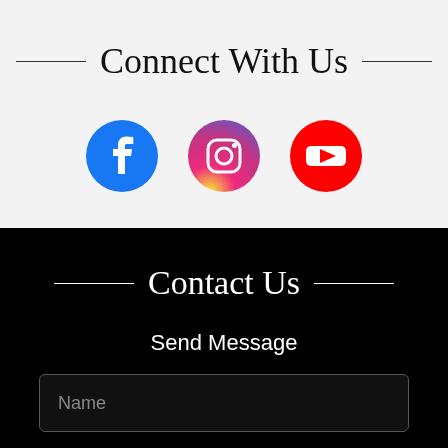Connect With Us
[Figure (illustration): Three social media icons in circles: Facebook (blue), Instagram (pink/gradient), YouTube (red)]
Contact Us
Send Message
Name